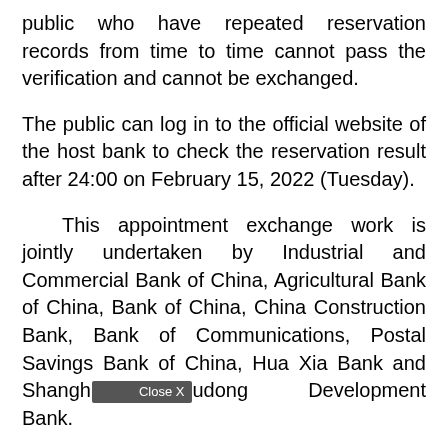public who have repeated reservation records from time to time cannot pass the verification and cannot be exchanged.
The public can log in to the official website of the host bank to check the reservation result after 24:00 on February 15, 2022 (Tuesday).
This appointment exchange work is jointly undertaken by Industrial and Commercial Bank of China, Agricultural Bank of China, Bank of China, China Construction Bank, Bank of Communications, Postal Savings Bank of China, Hua Xia Bank and Shanghai Pudong Development Bank.
(Finish)